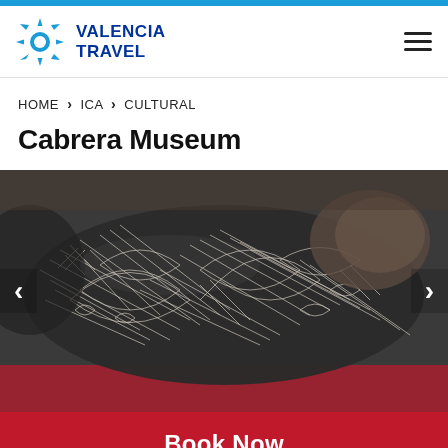Valencia Travel
HOME › ICA › CULTURAL
Cabrera Museum
[Figure (photo): A large dark engraved stone (Cabrera stone) with intricate white line carvings depicting various figures and scenes, displayed on a red surface. Navigation arrows on left and right sides of the image.]
Book Now